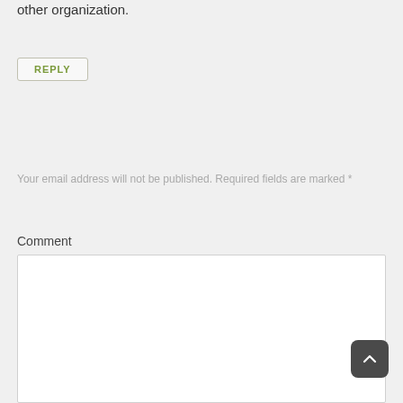other organization.
REPLY
Your email address will not be published. Required fields are marked *
Comment
[Figure (other): Empty comment text area input box with white background and light border]
[Figure (other): Dark rounded scroll-to-top button with upward chevron arrow icon]